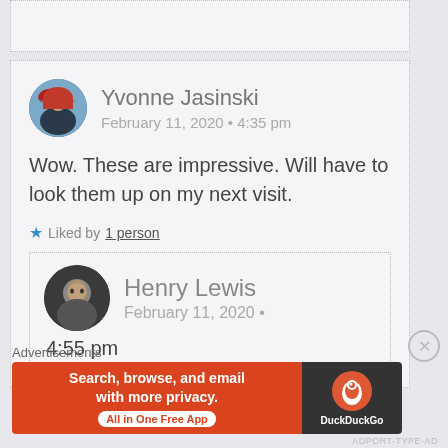[Figure (screenshot): Top portion of a comment box, partially visible at top of page]
Yvonne Jasinski
February 11, 2020 • 4:35 pm
Wow. These are impressive. Will have to look them up on my next visit.
★ Liked by 1 person
Henry Lewis
February 11, 2020 • 4:55 pm
Advertisements
[Figure (screenshot): DuckDuckGo advertisement banner: 'Search, browse, and email with more privacy. All in One Free App' on orange background with DuckDuckGo logo on dark background]